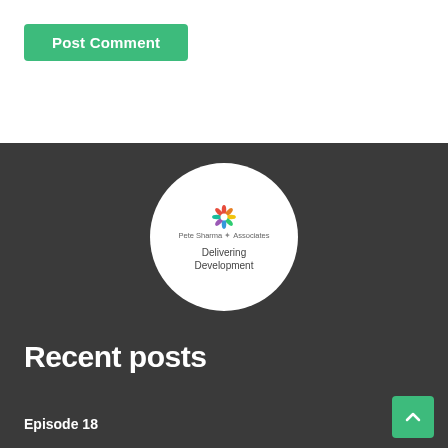Post Comment
[Figure (logo): Pete Sharma Associates logo — circular white badge with a colorful flower/pinwheel graphic and text 'Pete Sharma Associates / Delivering Development']
Recent posts
Episode 18